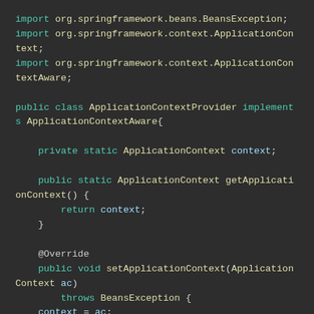[Figure (screenshot): Code editor screenshot showing Java code for ApplicationContextProvider class implementing ApplicationContextAware, with syntax highlighting on dark background.]